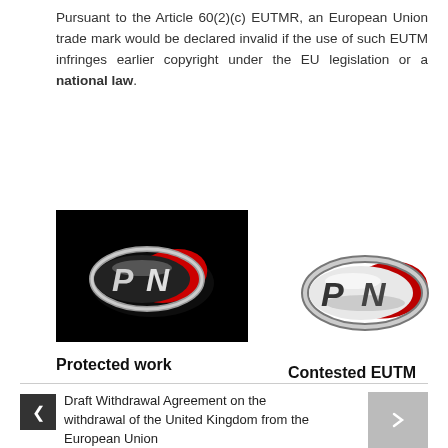Pursuant to the Article 60(2)(c) EUTMR, an European Union trade mark would be declared invalid if the use of such EUTM infringes earlier copyright under the EU legislation or a national law.
[Figure (logo): PN logo on black background — stylized PN letters inside a chrome oval with red swoosh element. Labeled 'Protected work'.]
[Figure (logo): PN logo on white background — stylized PN letters inside a chrome oval with red swoosh element. Labeled 'Contested EUTM'.]
Protected work
Contested EUTM
Draft Withdrawal Agreement on the withdrawal of the United Kingdom from the European Union
A case for the existence and validity of an